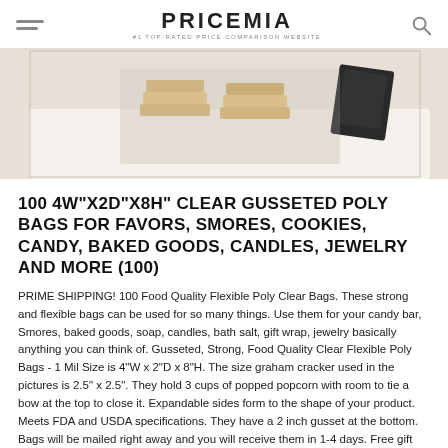PRICEMIA #1 TOP-RATED PRICE COMPARISON WEBSITE
[Figure (photo): Product photo showing clear poly bags with graham crackers/baked goods inside, stacked on a white surface with a dark gift tag visible]
100 4W"X2D"X8H" CLEAR GUSSETED POLY BAGS FOR FAVORS, SMORES, COOKIES, CANDY, BAKED GOODS, CANDLES, JEWELRY AND MORE (100)
PRIME SHIPPING! 100 Food Quality Flexible Poly Clear Bags. These strong and flexible bags can be used for so many things. Use them for your candy bar, Smores, baked goods, soap, candles, bath salt, gift wrap, jewelry basically anything you can think of. Gusseted, Strong, Food Quality Clear Flexible Poly Bags - 1 Mil Size is 4"W x 2"D x 8"H. The size graham cracker used in the pictures is 2.5" x 2.5". They hold 3 cups of popped popcorn with room to tie a bow at the top to close it. Expandable sides form to the shape of your product. Meets FDA and USDA specifications. They have a 2 inch gusset at the bottom. Bags will be mailed right away and you will receive them in 1-4 days. Free gift included. Please note these are soft poly bags and not the shiny crinkly cellophane that you may buy at a far greater price elsewhere.